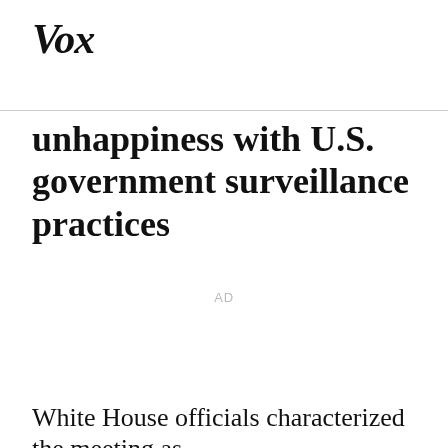Vox
unhappiness with U.S. government surveillance practices
AD
White House officials characterized the meeting as